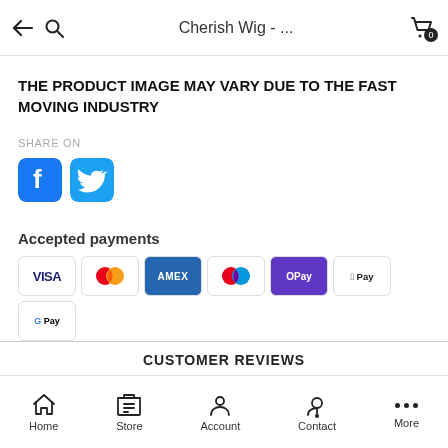Cherish Wig - ...
THE PRODUCT IMAGE MAY VARY DUE TO THE FAST MOVING INDUSTRY
SHARE ON
[Figure (illustration): Facebook and Twitter social share icons]
Accepted payments
[Figure (illustration): Payment method icons: VISA, Mastercard, AMEX, another card, OPay, Apple Pay, Google Pay]
CUSTOMER REVIEWS
Home  Store  Account  Contact  More